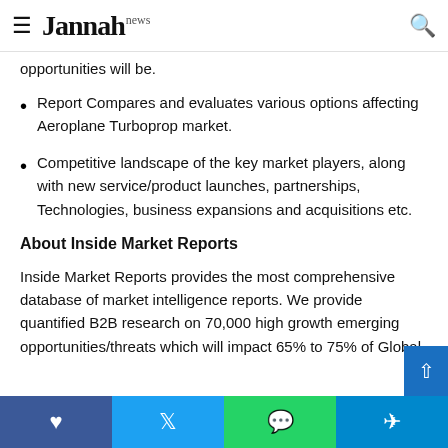Jannah news
rstand where the market opportunities will be.
Report Compares and evaluates various options affecting Aeroplane Turboprop market.
Competitive landscape of the key market players, along with new service/product launches, partnerships, Technologies, business expansions and acquisitions etc.
About Inside Market Reports
Inside Market Reports provides the most comprehensive database of market intelligence reports. We provide quantified B2B research on 70,000 high growth emerging opportunities/threats which will impact 65% to 75% of Global
Facebook Twitter WhatsApp Telegram